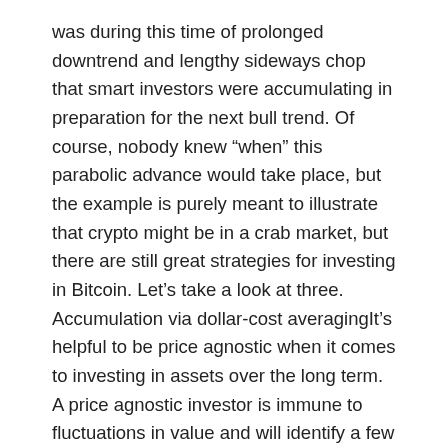was during this time of prolonged downtrend and lengthy sideways chop that smart investors were accumulating in preparation for the next bull trend. Of course, nobody knew “when” this parabolic advance would take place, but the example is purely meant to illustrate that crypto might be in a crab market, but there are still great strategies for investing in Bitcoin. Let’s take a look at three. Accumulation via dollar-cost averagingIt’s helpful to be price agnostic when it comes to investing in assets over the long term. A price agnostic investor is immune to fluctuations in value and will identify a few assets that they believe in and continue to add to the positions. If the project has good fundamentals, a strong, active use case and a healthy network, it makes more sense to just dollar-cost average (DCA) into a position.Take, for example, this chart from DCA BTC. Results of weekly dollar-cost averaging...